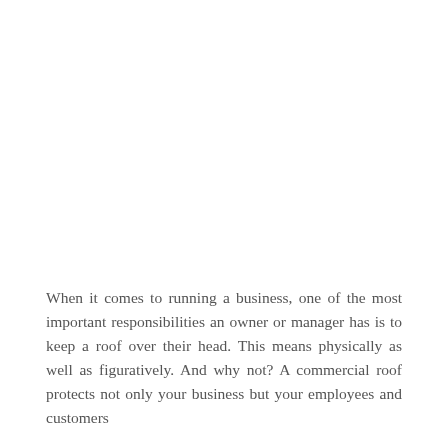When it comes to running a business, one of the most important responsibilities an owner or manager has is to keep a roof over their head. This means physically as well as figuratively. And why not? A commercial roof protects not only your business but your employees and customers